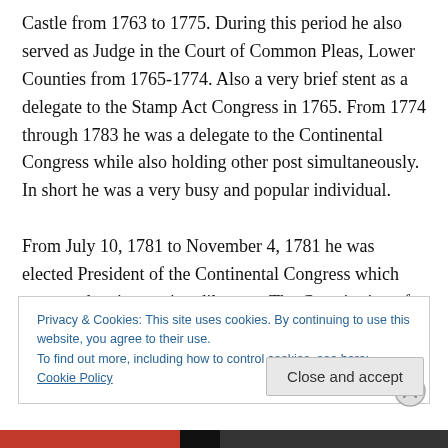Castle from 1763 to 1775. During this period he also served as Judge in the Court of Common Pleas, Lower Counties from 1765-1774. Also a very brief stent as a delegate to the Stamp Act Congress in 1765. From 1774 through 1783 he was a delegate to the Continental Congress while also holding other post simultaneously. In short he was a very busy and popular individual.

From July 10, 1781 to November 4, 1781 he was elected President of the Continental Congress which presented an interesting dilemma. The Constitution of Pennsylvania
Privacy & Cookies: This site uses cookies. By continuing to use this website, you agree to their use.
To find out more, including how to control cookies, see here: Cookie Policy
Close and accept